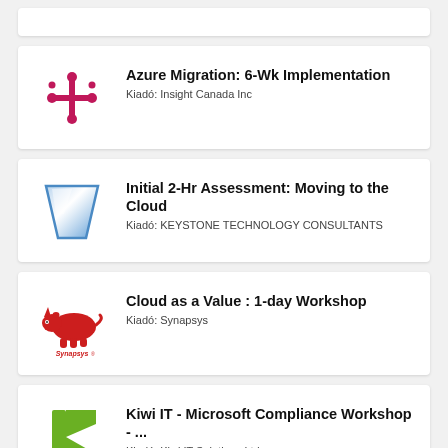[Figure (other): Partial card at top (cropped)]
[Figure (logo): Insight Canada Inc logo - pink/magenta circuit-like symbol with dots and lines]
Azure Migration: 6-Wk Implementation
Kiadó: Insight Canada Inc
[Figure (logo): Keystone Technology Consultants logo - blue trapezoid/funnel shape]
Initial 2-Hr Assessment: Moving to the Cloud
Kiadó: KEYSTONE TECHNOLOGY CONSULTANTS
[Figure (logo): Synapsys logo - red rhinoceros with Synapsys text below]
Cloud as a Value : 1-day Workshop
Kiadó: Synapsys
[Figure (logo): Kiwi IT Solutions logo - green angular K shape]
Kiwi IT - Microsoft Compliance Workshop - ...
Kiadó: Kiwi IT Solutions Ltd